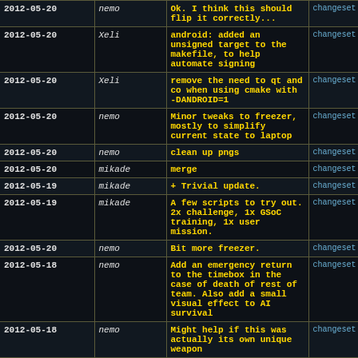| Date | Author | Message | Links |
| --- | --- | --- | --- |
| 2012-05-20 | nemo | Ok. I think  this  should flip it correctly... | changeset | file |
| 2012-05-20 | Xeli | android: added an unsigned target to the makefile, to help automate signing | changeset | file |
| 2012-05-20 | Xeli | remove the need to qt and co when using cmake with -DANDROID=1 | changeset | file |
| 2012-05-20 | nemo | Minor tweaks to freezer, mostly to simplify current state to laptop | changeset | file |
| 2012-05-20 | nemo | clean up pngs | changeset | file |
| 2012-05-20 | mikade | merge | changeset | file |
| 2012-05-19 | mikade | + Trivial update. | changeset | file |
| 2012-05-19 | mikade | A few scripts to try out. 2x challenge, 1x GSoC training, 1x user mission. | changeset | file |
| 2012-05-20 | nemo | Bit more freezer. | changeset | file |
| 2012-05-18 | nemo | Add an emergency return to the timebox in the case of death of rest of team. Also add a small visual effect to AI survival | changeset | file |
| 2012-05-18 | nemo | Might help if this was actually its own unique weapon | changeset | file |
| 2012-05-17 | nemo | Provide training/campaign with a random seed to ignore/use. | changeset | file |
| 2012-05-17 | Xeli |  | changeset | file |